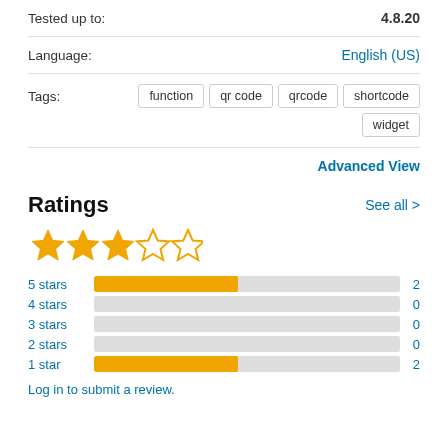Tested up to: 4.8.20
Language: English (US)
Tags: function  qr code  qrcode  shortcode  widget
Advanced View
Ratings
See all >
[Figure (other): 3 out of 5 stars rating display with filled and empty star icons]
[Figure (bar-chart): Ratings breakdown]
Log in to submit a review.